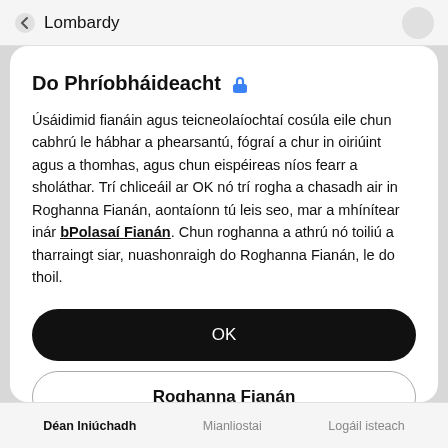Lombardy
Do Phríobháideacht 🔒
Úsáidimid fianáin agus teicneolaíochtaí cosúla eile chun cabhrú le hábhar a phearsantú, fógraí a chur in oiriúint agus a thomhas, agus chun eispéireas níos fearr a sholáthar. Trí chliceáil ar OK nó trí rogha a chasadh air in Roghanna Fianán, aontaíonn tú leis seo, mar a mhínítear inár bPolasaí Fianán. Chun roghanna a athrú nó toiliú a tharraingt siar, nuashonraigh do Roghanna Fianán, le do thoil.
OK
Roghanna Fianán
Déan Iniúchadh   Mianliostai   Logáil isteach